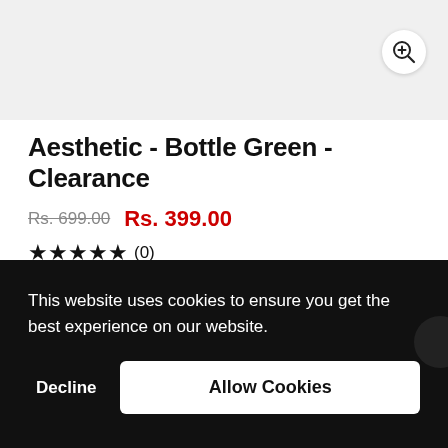[Figure (photo): Product image area (gray background placeholder) with a zoom/magnify button in the top-right corner]
Aesthetic - Bottle Green - Clearance
Rs. 699.00  Rs. 399.00
★★★★★ (0)
Our tees are cut, sewn and manufactured in India. The fabric is siliconed as well as bio-washed to avoid shrinks and to ...of ...nd
This website uses cookies to ensure you get the best experience on our website.
Decline   Allow Cookies